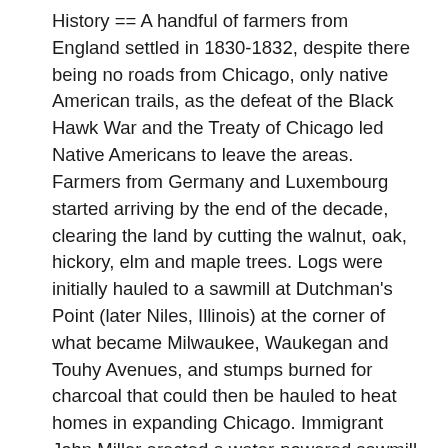History == A handful of farmers from England settled in 1830-1832, despite there being no roads from Chicago, only native American trails, as the defeat of the Black Hawk War and the Treaty of Chicago led Native Americans to leave the areas. Farmers from Germany and Luxembourg started arriving by the end of the decade, clearing the land by cutting the walnut, oak, hickory, elm and maple trees. Logs were initially hauled to a sawmill at Dutchman's Point (later Niles, Illinois) at the corner of what became Milwaukee, Waukegan and Touhy Avenues, and stumps burned for charcoal that could then be hauled to heat homes in expanding Chicago. Immigrant John Miller erected a water-powered sawmill near where the Chicago River met the future Dempster Street shortly after 1841. This simplified homebuilding in the area, as well as facilitated further lumber sales.